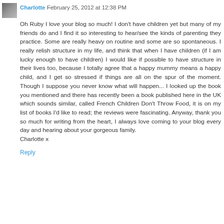Charlotte February 25, 2012 at 12:38 PM
Oh Ruby I love your blog so much! I don't have children yet but many of my friends do and I find it so interesting to hear/see the kinds of parenting they practice. Some are really heavy on routine and some are so spontaneous. I really relish structure in my life, and think that when I have children (if I am lucky enough to have children) I would like if possible to have structure in their lives too, because I totally agree that a happy mummy means a happy child, and I get so stressed if things are all on the spur of the moment. Though I suppose you never know what will happen... I looked up the book you mentioned and there has recently been a book published here in the UK which sounds similar, called French Children Don't Throw Food, it is on my list of books I'd like to read; the reviews were fascinating. Anyway, thank you so much for writing from the heart, I always love coming to your blog every day and hearing about your gorgeous family.
Charlotte x
Reply